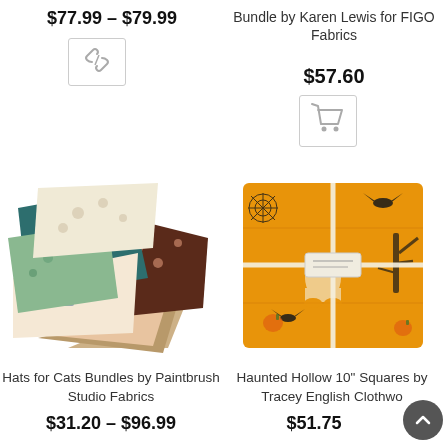$77.99 – $79.99
[Figure (other): Link/chain icon button]
Bundle by Karen Lewis for FIGO Fabrics
$57.60
[Figure (other): Shopping cart icon button]
[Figure (photo): Hats for Cats fabric bundle with various patterned fabric squares fanned out]
[Figure (photo): Haunted Hollow 10 inch squares fabric bundle in orange with Halloween motifs, tied with ribbon]
Hats for Cats Bundles by Paintbrush Studio Fabrics
$31.20 – $96.99
Haunted Hollow 10" Squares by Tracey English Clothwo...
$51.75